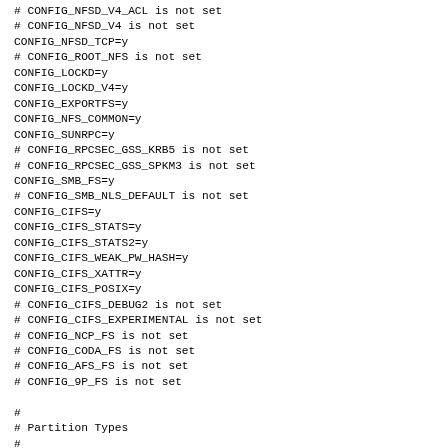# CONFIG_NFSD_V4_ACL is not set
# CONFIG_NFSD_V4 is not set
CONFIG_NFSD_TCP=y
# CONFIG_ROOT_NFS is not set
CONFIG_LOCKD=y
CONFIG_LOCKD_V4=y
CONFIG_EXPORTFS=y
CONFIG_NFS_COMMON=y
CONFIG_SUNRPC=y
# CONFIG_RPCSEC_GSS_KRB5 is not set
# CONFIG_RPCSEC_GSS_SPKM3 is not set
CONFIG_SMB_FS=y
# CONFIG_SMB_NLS_DEFAULT is not set
CONFIG_CIFS=y
CONFIG_CIFS_STATS=y
CONFIG_CIFS_STATS2=y
CONFIG_CIFS_WEAK_PW_HASH=y
CONFIG_CIFS_XATTR=y
CONFIG_CIFS_POSIX=y
# CONFIG_CIFS_DEBUG2 is not set
# CONFIG_CIFS_EXPERIMENTAL is not set
# CONFIG_NCP_FS is not set
# CONFIG_CODA_FS is not set
# CONFIG_AFS_FS is not set
# CONFIG_9P_FS is not set

#
# Partition Types
#
CONFIG_PARTITION_ADVANCED=y
# CONFIG_ACORN_PARTITION is not set